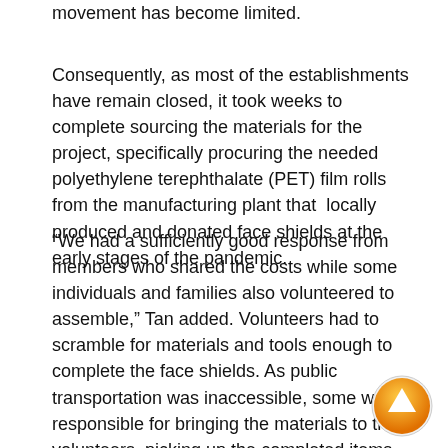movement has become limited.
Consequently, as most of the establishments have remain closed, it took weeks to complete sourcing the materials for the project, specifically procuring the needed polyethylene terephthalate (PET) film rolls from the manufacturing plant that locally produced and donated face shields at the early stages of the pandemic.
“We had a sufficiently good response from members who shared the costs while some individuals and families also volunteered to assemble,” Tan added. Volunteers had to scramble for materials and tools enough to complete the face shields. As public transportation was inaccessible, some were responsible for bringing the materials to the volunteers, picking up the completed items, and finally transporting it to the different beneficiaries.
[Figure (other): Orange circular up-arrow navigation button in bottom right corner]